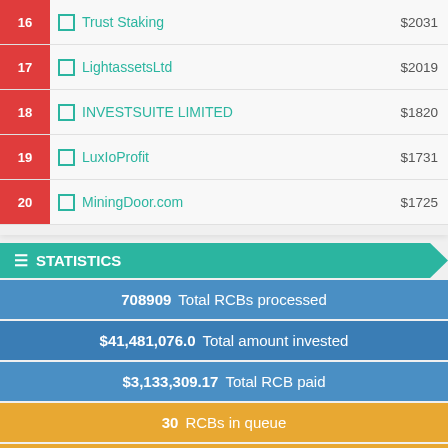16 Trust Staking $2031
17 LightassetsLtd $2019
18 INVESTSUITE LIMITED $1820
19 LuxIoProfit $1731
20 MiningDoor.com $1725
STATISTICS
708909 Total RCBs processed
$41,481,076.0 Total amount invested
$3,133,309.17 Total RCB paid
30 RCBs in queue
$142.97 RCB amount in queue
54 RCBs processed today